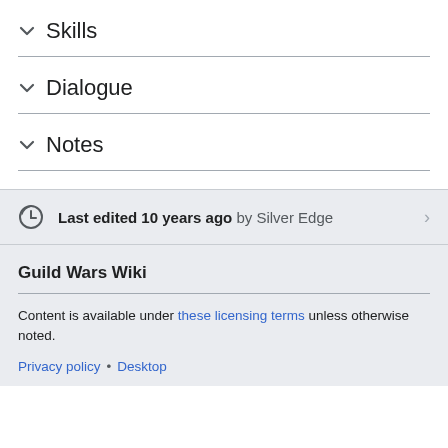Skills
Dialogue
Notes
Last edited 10 years ago by Silver Edge
Guild Wars Wiki
Content is available under these licensing terms unless otherwise noted.
Privacy policy • Desktop